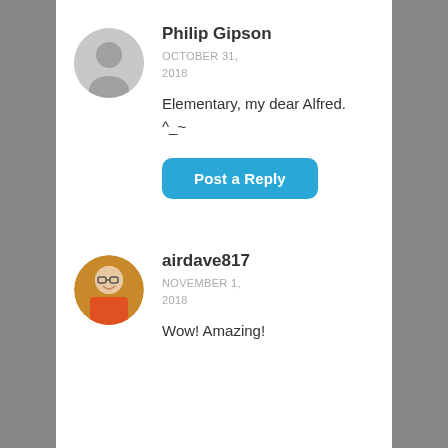[Figure (photo): Default user avatar - gray circle with silhouette icon]
Philip Gipson
OCTOBER 31, 2018
Elementary, my dear Alfred. ^_~
[Figure (illustration): Post a Reply button - blue rounded rectangle]
[Figure (photo): Profile photo of airdave817 - man with glasses in orange shirt]
airdave817
NOVEMBER 1, 2018
Wow! Amazing!